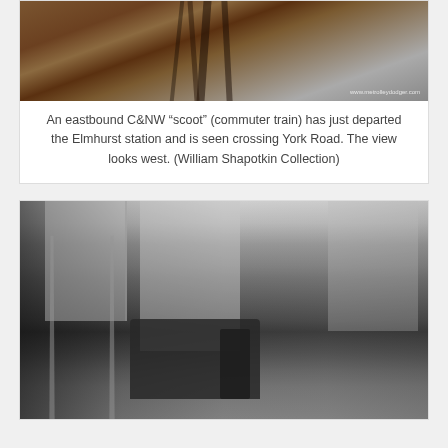[Figure (photo): A colorized photograph of railroad tracks viewed from above, showing the rail lines and ties with reddish-brown earth. A watermark reading 'www.metrolleydodger.com' appears in the lower right corner.]
An eastbound C&NW “scoot” (commuter train) has just departed the Elmhurst station and is seen crossing York Road. The view looks west. (William Shapotkin Collection)
[Figure (photo): A black and white photograph of an elevated railway train on tracks in an urban setting. The train car faces the camera with people visible on the platform. Buildings are visible on both sides, including what appears to be a construction site on the right. The scene is from a vintage era.]